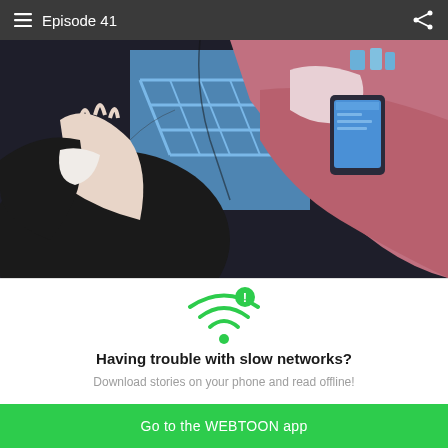Episode 41
[Figure (illustration): Webtoon comic panel showing two characters in close-up: on the left, a character in dark clothing with a hand near their face; on the right, a character in a mauve/rose-colored garment holding a smartphone. Blue staircase visible in background.]
[Figure (infographic): Green WiFi symbol with an exclamation mark badge icon indicating network/connectivity issue]
Having trouble with slow networks?
Download stories on your phone and read offline!
Go to the WEBTOON app